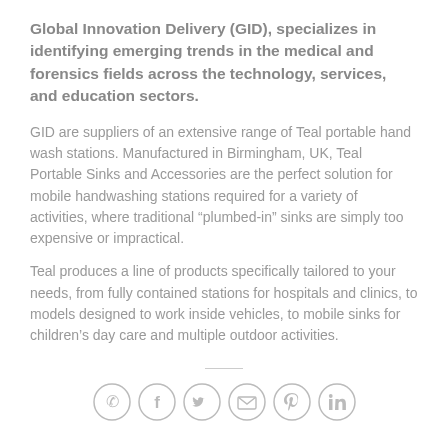Global Innovation Delivery (GID), specializes in identifying emerging trends in the medical and forensics fields across the technology, services, and education sectors.
GID are suppliers of an extensive range of Teal portable hand wash stations. Manufactured in Birmingham, UK, Teal Portable Sinks and Accessories are the perfect solution for mobile handwashing stations required for a variety of activities, where traditional “plumbed-in” sinks are simply too expensive or impractical.
Teal produces a line of products specifically tailored to your needs, from fully contained stations for hospitals and clinics, to models designed to work inside vehicles, to mobile sinks for children’s day care and multiple outdoor activities.
[Figure (other): A horizontal divider line followed by a row of six circular social media icon buttons: WhatsApp, Facebook, Twitter, Email, Pinterest, LinkedIn]